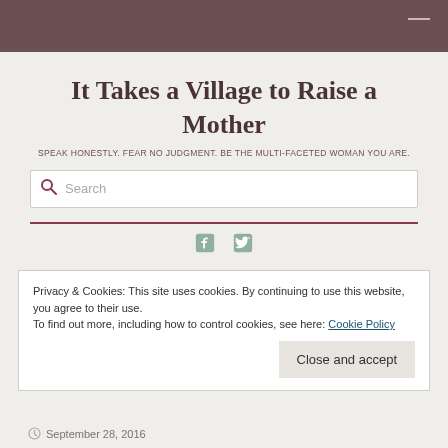It Takes a Village to Raise a Mother
SPEAK HONESTLY. FEAR NO JUDGMENT. BE THE MULTI-FACETED WOMAN YOU ARE.
Search
[Figure (illustration): Social media icons: Facebook and Twitter]
Privacy & Cookies: This site uses cookies. By continuing to use this website, you agree to their use.
To find out more, including how to control cookies, see here: Cookie Policy
Close and accept
September 28, 2016